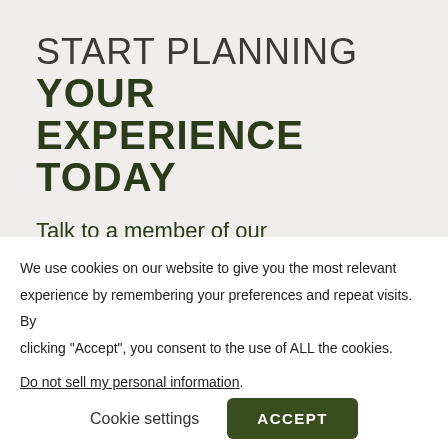START PLANNING YOUR EXPERIENCE TODAY
Talk to a member of our Recalibration team about what we can do for your
We use cookies on our website to give you the most relevant experience by remembering your preferences and repeat visits. By clicking “Accept”, you consent to the use of ALL the cookies.
Do not sell my personal information.
Cookie settings  ACCEPT